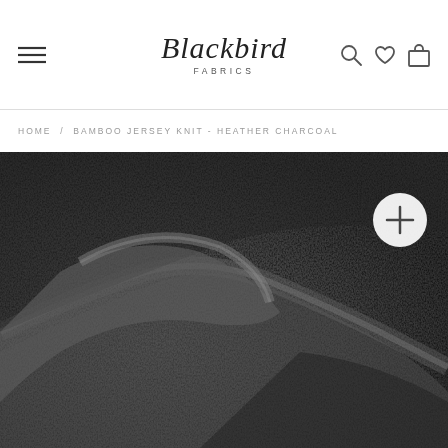Blackbird Fabrics — navigation header with hamburger menu, logo, search, wishlist, and cart icons
HOME / BAMBOO JERSEY KNIT - HEATHER CHARCOAL
[Figure (photo): Close-up photograph of heather charcoal bamboo jersey knit fabric, showing the texture and drape of the fabric in a dark grey mottled color. A circular plus/zoom button is visible in the upper right of the image.]